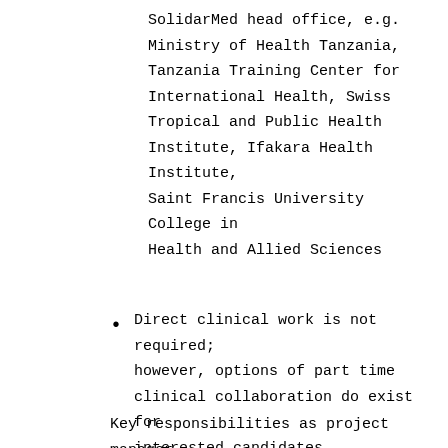SolidarMed head office, e.g. Ministry of Health Tanzania, Tanzania Training Center for International Health, Swiss Tropical and Public Health Institute, Ifakara Health Institute, Saint Francis University College in Health and Allied Sciences
Direct clinical work is not required; however, options of part time clinical collaboration do exist for interested candidates
Key responsibilities as project manager